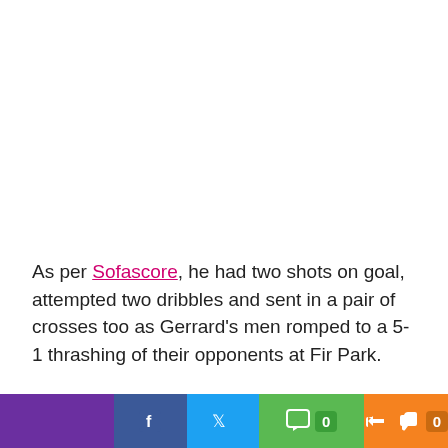As per Sofascore, he had two shots on goal, attempted two dribbles and sent in a pair of crosses too as Gerrard's men romped to a 5-1 thrashing of their opponents at Fir Park.
[Figure (screenshot): Video player bar with thumbnail showing footballer images and text 'Micah Richards Predicts The Premier League ????' with close button]
[Figure (screenshot): Social media sharing bar with purple, Facebook blue, Twitter blue, green comment with 0 count, and orange like with 0 count buttons]